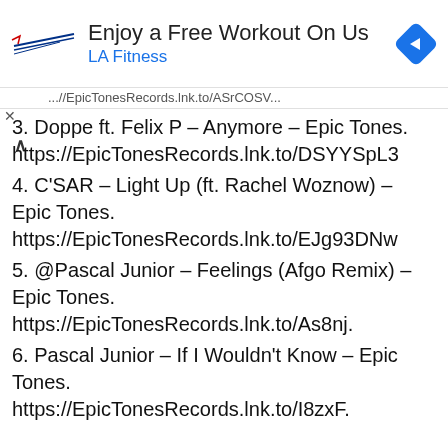[Figure (screenshot): LA Fitness advertisement banner with logo, 'Enjoy a Free Workout On Us' text, and blue navigation arrow icon]
...//EpicTonesRecords.lnk.to/ASrCOSV...
3. Doppe ft. Felix P – Anymore – Epic Tones. https://EpicTonesRecords.lnk.to/DSYYSpL3
4. C'SAR – Light Up (ft. Rachel Woznow) – Epic Tones. https://EpicTonesRecords.lnk.to/EJg93DNw
5. @Pascal Junior – Feelings (Afgo Remix) – Epic Tones. https://EpicTonesRecords.lnk.to/As8nj.
6. Pascal Junior – If I Wouldn't Know – Epic Tones. https://EpicTonesRecords.lnk.to/I8zxF.